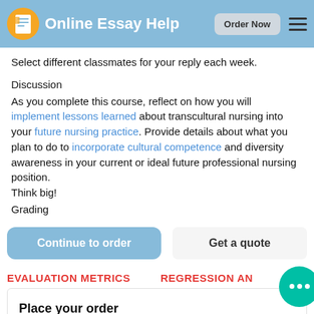Online Essay Help | Order Now
Select different classmates for your reply each week.
Discussion
As you complete this course, reflect on how you will implement lessons learned about transcultural nursing into your future nursing practice. Provide details about what you plan to do to incorporate cultural competence and diversity awareness in your current or ideal future professional nursing position. Think big!
Grading
Continue to order
Get a quote
EVALUATION METRICS
REGRESSION ANALYSIS
Place your order